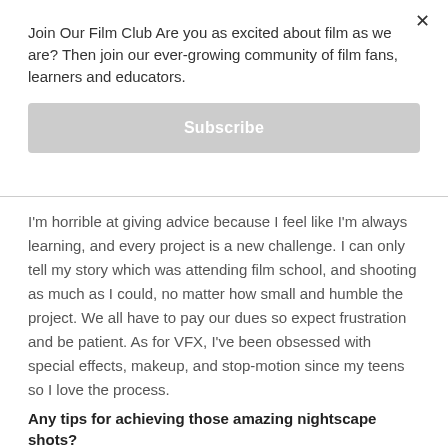Join Our Film Club Are you as excited about film as we are? Then join our ever-growing community of film fans, learners and educators.
Subscribe
I'm horrible at giving advice because I feel like I'm always learning, and every project is a new challenge. I can only tell my story which was attending film school, and shooting as much as I could, no matter how small and humble the project. We all have to pay our dues so expect frustration and be patient. As for VFX, I've been obsessed with special effects, makeup, and stop-motion since my teens so I love the process.
Any tips for achieving those amazing nightscape shots?